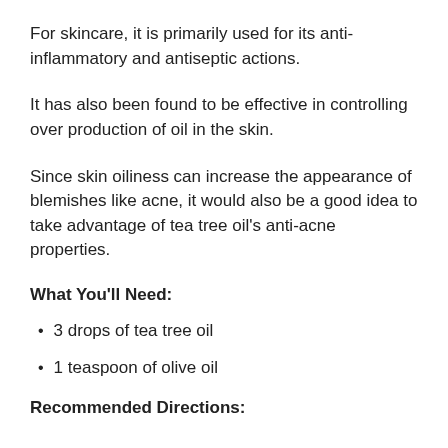For skincare, it is primarily used for its anti-inflammatory and antiseptic actions.
It has also been found to be effective in controlling over production of oil in the skin.
Since skin oiliness can increase the appearance of blemishes like acne, it would also be a good idea to take advantage of tea tree oil's anti-acne properties.
What You'll Need:
3 drops of tea tree oil
1 teaspoon of olive oil
Recommended Directions: